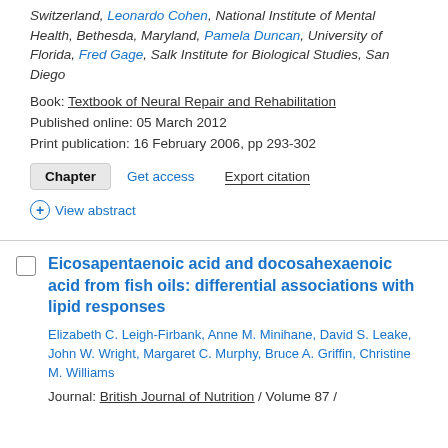Switzerland, Leonardo Cohen, National Institute of Mental Health, Bethesda, Maryland, Pamela Duncan, University of Florida, Fred Gage, Salk Institute for Biological Studies, San Diego
Book: Textbook of Neural Repair and Rehabilitation
Published online: 05 March 2012
Print publication: 16 February 2006, pp 293-302
Chapter  Get access  Export citation  View abstract
Eicosapentaenoic acid and docosahexaenoic acid from fish oils: differential associations with lipid responses
Elizabeth C. Leigh-Firbank, Anne M. Minihane, David S. Leake, John W. Wright, Margaret C. Murphy, Bruce A. Griffin, Christine M. Williams
Journal: British Journal of Nutrition / Volume 87 /